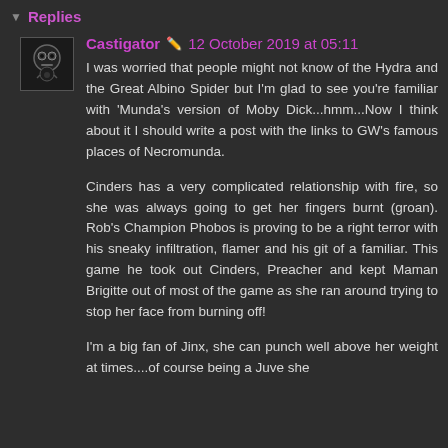Replies
Castigator  12 October 2019 at 05:11
I was worried that people might not know of the Hydra and the Great Albino Spider but I'm glad to see you're familiar with 'Munda's version of Moby Dick...hmm...Now I think about it I should write a post with the links to GW's famous places of Necromunda.
Cinders has a very complicated relationship with fire, so she was always going to get her fingers burnt (groan). Rob's Champion Phobos is proving to be a right terror with his sneaky infiltration, flamer and his git of a familiar. This game he took out Cinders, Preacher and kept Maman Brigitte out of most of the game as she ran around trying to stop her face from burning off!
I'm a big fan of Jinx, she can punch well above her weight at times....of course being a Juve she